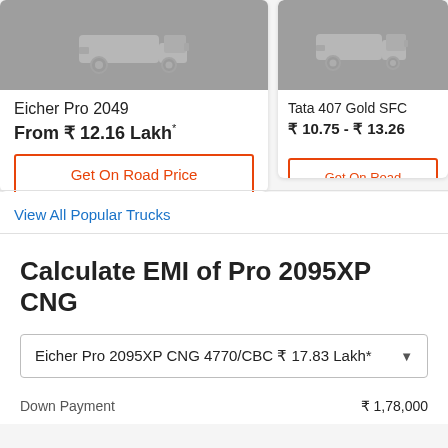[Figure (illustration): Grey placeholder image of a truck (Eicher Pro 2049 card)]
Eicher Pro 2049
From ₹ 12.16 Lakh*
Get On Road Price
[Figure (illustration): Grey placeholder image of a truck (Tata 407 Gold SFC card, partially cropped)]
Tata 407 Gold SFC
₹ 10.75 - ₹ 13.26
Get On Road
View All Popular Trucks
Calculate EMI of Pro 2095XP CNG
Eicher Pro 2095XP CNG 4770/CBC ₹ 17.83 Lakh*
Down Payment
₹ 1,78,000